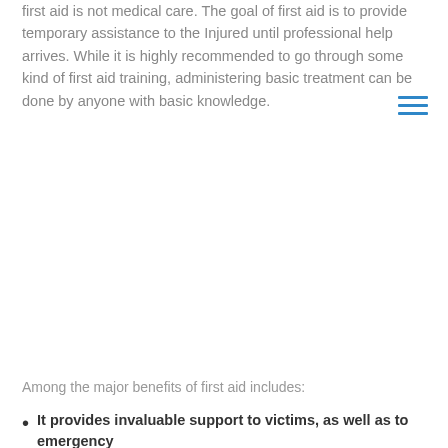first aid is not medical care. The goal of first aid is to provide temporary assistance to the Injured until professional help arrives. While it is highly recommended to go through some kind of first aid training, administering basic treatment can be done by anyone with basic knowledge.
[Figure (other): Hamburger menu icon — three horizontal blue lines]
Among the major benefits of first aid includes:
It provides invaluable support to victims, as well as to emergency